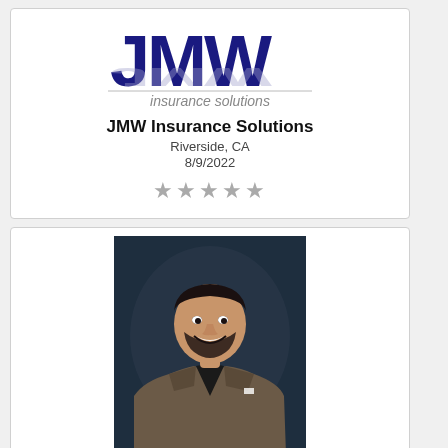[Figure (logo): JMW Insurance Solutions logo with large blue JMW letters and gray 'insurance solutions' text below]
JMW Insurance Solutions
Riverside, CA
8/9/2022
★★★★★ (gray stars, no rating filled)
[Figure (photo): Professional headshot photo of Sean Deleon, a smiling man wearing a brown blazer over a dark shirt, against a dark background]
Farmers Insurance - Sean Deleon